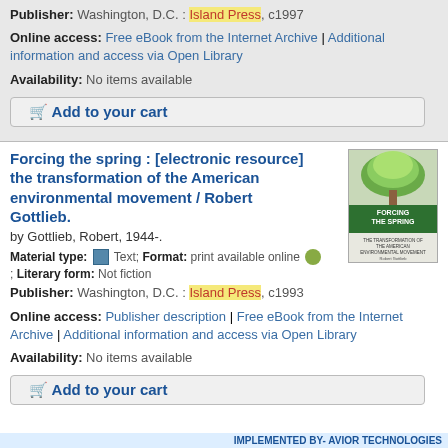Publisher: Washington, D.C. : Island Press, c1997
Online access: Free eBook from the Internet Archive | Additional information and access via Open Library
Availability: No items available
Add to your cart
Forcing the spring : [electronic resource] the transformation of the American environmental movement / Robert Gottlieb.
by Gottlieb, Robert, 1944-.
Material type: Text; Format: print available online ; Literary form: Not fiction
Publisher: Washington, D.C. : Island Press, c1993
Online access: Publisher description | Free eBook from the Internet Archive | Additional information and access via Open Library
Availability: No items available
Add to your cart
IMPLEMENTED BY- AVIOR TECHNOLOGIES